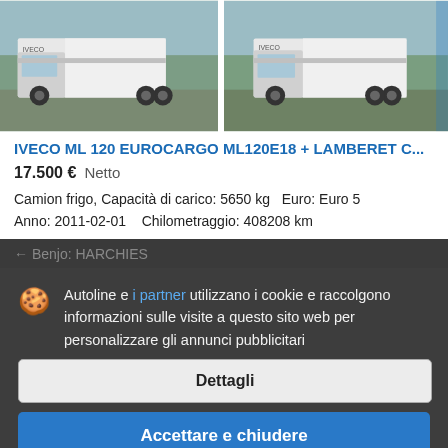[Figure (photo): Two photos of a white IVECO Eurocargo refrigerated truck side by side]
IVECO ML 120 EUROCARGO ML120E18 + LAMBERET C...
17.500 €  Netto
Camion frigo, Capacità di carico: 5650 kg  Euro: Euro 5
Anno: 2011-02-01   Chilometraggio: 408208 km
Benjo: HARCHIES
Autoline e i partner utilizzano i cookie e raccolgono informazioni sulle visite a questo sito web per personalizzare gli annunci pubblicitari
Dettagli
Accettare e chiudere